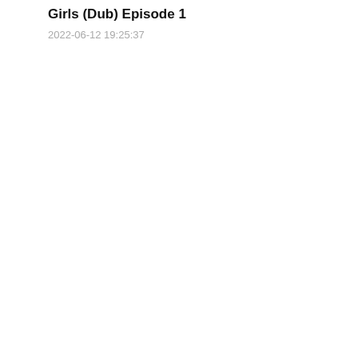Girls (Dub) Episode 1
2022-06-12 19:25:37